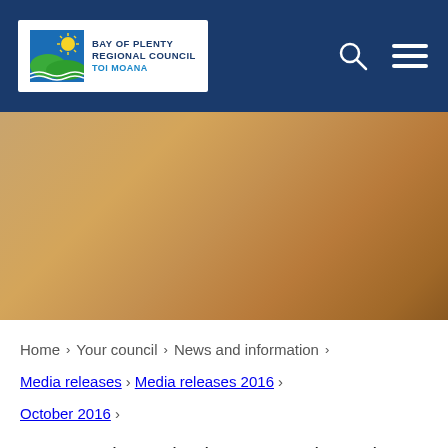[Figure (logo): Bay of Plenty Regional Council Toi Moana logo with navigation header in dark blue, search icon and hamburger menu]
[Figure (photo): Hero image with warm orange-brown gradient tones, likely a sunset or coastal scene]
Home > Your council > News and information > Media releases > Media releases 2016 > October 2016 >
Prep your boat, check your gear, know the rules